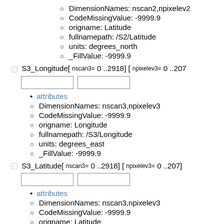DimensionNames: nscan2,npixelev2
CodeMissingValue: -9999.9
origname: Latitude
fullnamepath: /S2/Latitude
units: degrees_north
_FillValue: -9999.9
S3_Longitude[ nscan3= 0 ..2918] [ npixelev3= 0 ..207
attributes
DimensionNames: nscan3,npixelev3
CodeMissingValue: -9999.9
origname: Longitude
fullnamepath: /S3/Longitude
units: degrees_east
_FillValue: -9999.9
S3_Latitude[ nscan3= 0 ..2918] [ npixelev3= 0 ..207]
attributes
DimensionNames: nscan3,npixelev3
CodeMissingValue: -9999.9
origname: Latitude